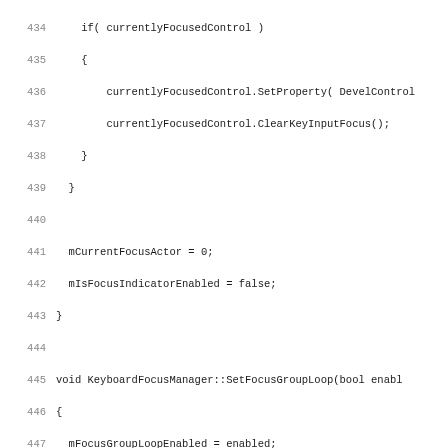[Figure (screenshot): Source code listing showing C++ methods of KeyboardFocusManager class, lines 434-466, with line numbers on the left and code on the right in monospace font.]